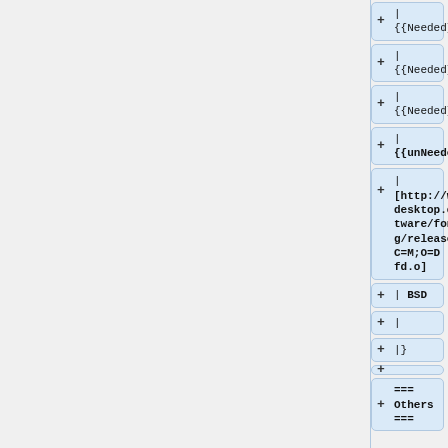+ | {{Needed}}
+ | {{Needed}}
+ | {{Needed}}
+ | {{unNeeded}}
+ | [http://www.freedesktop.org/software/fontconfig/release/?C=M;O=D fd.o]
+ | BSD
+ |
+ |}
+
+ === Others ===